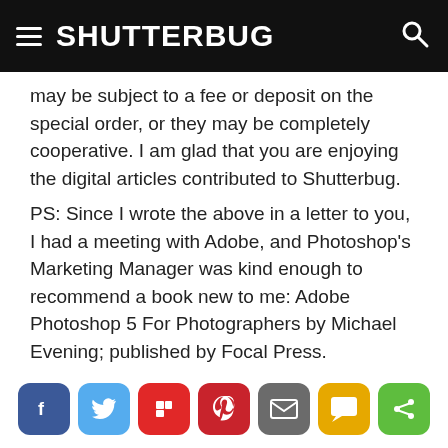SHUTTERBUG
may be subject to a fee or deposit on the special order, or they may be completely cooperative. I am glad that you are enjoying the digital articles contributed to Shutterbug.
PS: Since I wrote the above in a letter to you, I had a meeting with Adobe, and Photoshop's Marketing Manager was kind enough to recommend a book new to me: Adobe Photoshop 5 For Photographers by Michael Evening; published by Focal Press.
[Figure (infographic): Row of seven social sharing buttons: Facebook (blue), Twitter (light blue), Flipboard (red), Pinterest (dark red), Email (grey), SMS (yellow/gold), Share (green)]
Shop Now